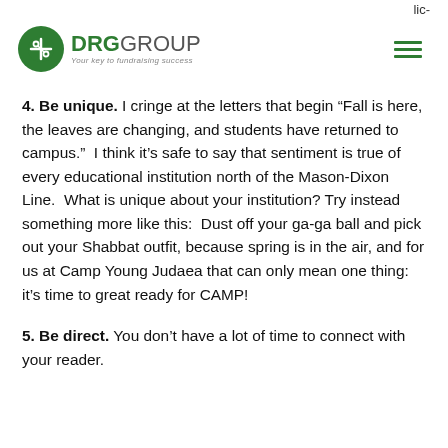lic-
[Figure (logo): DRG Group logo — green circle with scissors/cross icon, bold DRG GROUP text in green, tagline 'Your key to fundraising success', and a green hamburger menu icon to the right]
4. Be unique. I cringe at the letters that begin “Fall is here, the leaves are changing, and students have returned to campus.”  I think it’s safe to say that sentiment is true of every educational institution north of the Mason-Dixon Line.  What is unique about your institution? Try instead something more like this:  Dust off your ga-ga ball and pick out your Shabbat outfit, because spring is in the air, and for us at Camp Young Judaea that can only mean one thing: it’s time to great ready for CAMP!
5. Be direct. You don’t have a lot of time to connect with your reader.